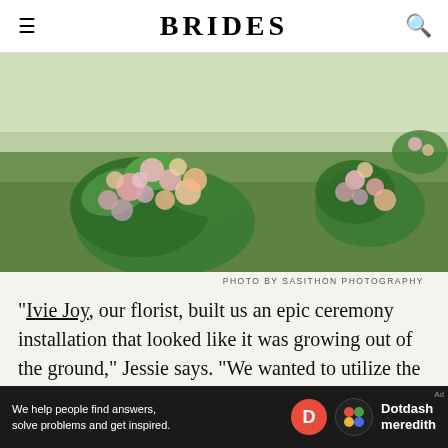BRIDES
[Figure (photo): Outdoor wedding ceremony floral installation with large arrangements of pink, peach, and lavender flowers mixed with lush greenery, placed on green grass, resembling a growing archway.]
PHOTO BY SASITHON PHOTOGRAPHY
“Ivie Joy, our florist, built us an epic ceremony installation that looked like it was growing out of the ground,” Jessie says. “We wanted to utilize the large tree on the property without it feeling too plain, and Ivie delivered a colorful growing half arch that made such a beautiful impact.” The lush archway was complemented
[Figure (infographic): Advertisement bar: 'We help people find answers, solve problems and get inspired.' with Dotdash Meredith logo]